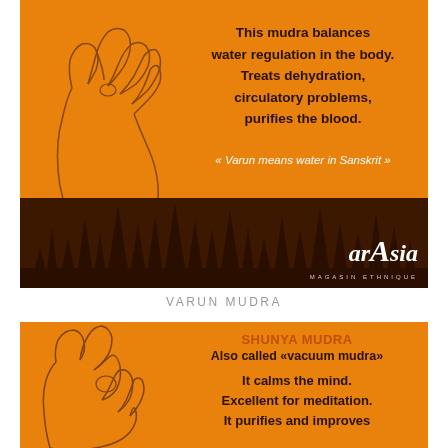[Figure (illustration): Orange card with hand gesture illustration (Varun Mudra) on left side showing fingers pinched. Dark skyline silhouette at bottom. arAsia Magasin Ethnique logo bottom right. Text on right side describing mudra benefits.]
VARUN MUDRA
[Figure (illustration): Orange card with hand gesture illustration (Shunya Mudra) on left side showing thumb pressing middle finger. Text on right side describing mudra benefits including calming the mind and meditation.]